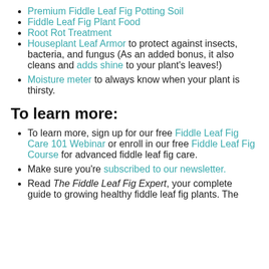Premium Fiddle Leaf Fig Potting Soil
Fiddle Leaf Fig Plant Food
Root Rot Treatment
Houseplant Leaf Armor to protect against insects, bacteria, and fungus (As an added bonus, it also cleans and adds shine to your plant's leaves!)
Moisture meter to always know when your plant is thirsty.
To learn more:
To learn more, sign up for our free Fiddle Leaf Fig Care 101 Webinar or enroll in our free Fiddle Leaf Fig Course for advanced fiddle leaf fig care.
Make sure you're subscribed to our newsletter.
Read The Fiddle Leaf Fig Expert, your complete guide to growing healthy fiddle leaf fig plants. The